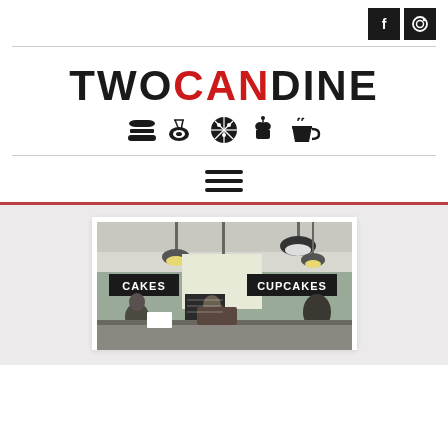[Figure (logo): Social media icons: Facebook (f) and Instagram (camera/circle) in dark square buttons, top right]
TWOCANDINE with food category icons below
[Figure (infographic): Hamburger/menu icon made of three horizontal bars]
[Figure (photo): Interior photo of a café/bakery showing pendant lights, blackboard signs reading CAKES and CUPCAKES, people inside]